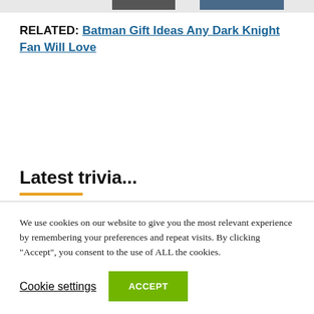[Figure (photo): Partial top edge of an image, cut off at top of page]
RELATED: Batman Gift Ideas Any Dark Knight Fan Will Love
Latest trivia...
We use cookies on our website to give you the most relevant experience by remembering your preferences and repeat visits. By clicking “Accept”, you consent to the use of ALL the cookies.